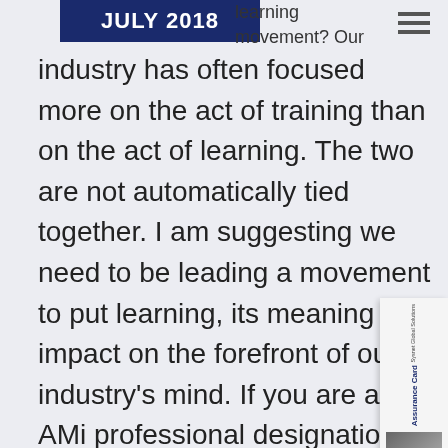JULY 2018
learning movement? Our industry has often focused more on the act of training than on the act of learning. The two are not automatically tied together. I am suggesting we need to be leading a movement to put learning, its meaning and impact on the forefront of our industry's mind. If you are an AMi professional designation holder, we encourage you to be a visible leader in this movement. It starts, at a minimum, by maintaining an active designation status by obtaining six credit hours of AMi-approved education each
[Figure (other): Sysnet Global Solutions Assurance Card advertisement with orange arrow button]